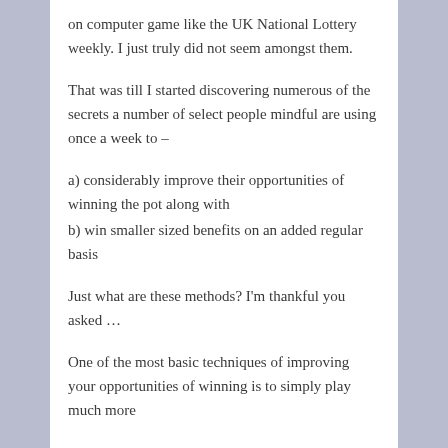on computer game like the UK National Lottery weekly. I just truly did not seem amongst them.
That was till I started discovering numerous of the secrets a number of select people mindful are using once a week to –
a) considerably improve their opportunities of winning the pot along with
b) win smaller sized benefits on an added regular basis
Just what are these methods? I'm thankful you asked …
One of the most basic techniques of improving your opportunities of winning is to simply play much more